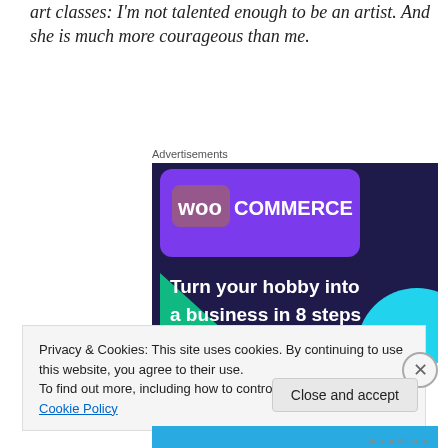art classes: I'm not talented enough to be an artist. And she is much more courageous than me.
Advertisements
[Figure (screenshot): WooCommerce advertisement banner with text 'Turn your hobby into a business in 8 steps' on dark purple background with green and cyan geometric shapes]
Privacy & Cookies: This site uses cookies. By continuing to use this website, you agree to their use.
To find out more, including how to control cookies, see here: Cookie Policy
Close and accept